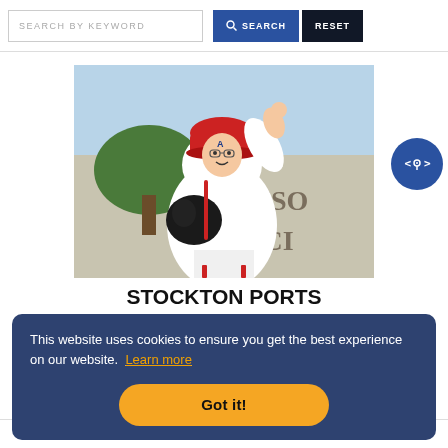SEARCH BY KEYWORD
SEARCH
RESET
[Figure (photo): Baseball pitcher in red and white uniform with red cap with 'A' logo, winding up to pitch, with 'STOCKTON' signage visible in the background]
STOCKTON PORTS
This website uses cookies to ensure you get the best experience on our website. Learn more
Got it!
MAP
DETAILS
SAVE